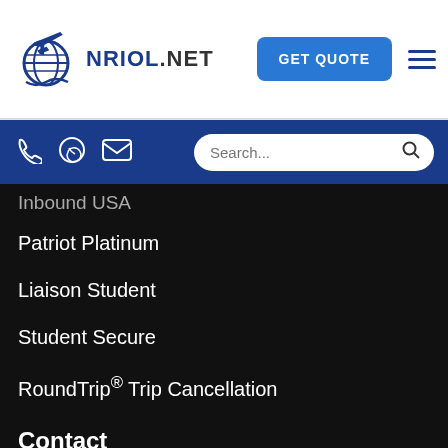[Figure (logo): NRIOL.NET logo with airplane globe icon]
GET QUOTE
[Figure (screenshot): Blue navigation bar with phone, WhatsApp, email icons and search box]
Inbound USA
Patriot Platinum
Liaison Student
Student Secure
RoundTrip® Trip Cancellation
Contact
+1) 302 4185
International Services, Inc.